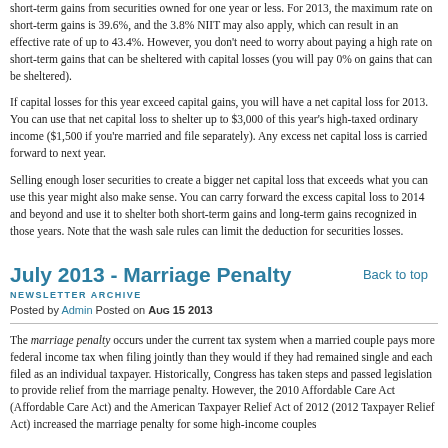short-term gains from securities owned for one year or less. For 2013, the maximum rate on short-term gains is 39.6%, and the 3.8% NIIT may also apply, which can result in an effective rate of up to 43.4%. However, you don't need to worry about paying a high rate on short-term gains that can be sheltered with capital losses (you will pay 0% on gains that can be sheltered).
If capital losses for this year exceed capital gains, you will have a net capital loss for 2013. You can use that net capital loss to shelter up to $3,000 of this year's high-taxed ordinary income ($1,500 if you're married and file separately). Any excess net capital loss is carried forward to next year.
Selling enough loser securities to create a bigger net capital loss that exceeds what you can use this year might also make sense. You can carry forward the excess capital loss to 2014 and beyond and use it to shelter both short-term gains and long-term gains recognized in those years. Note that the wash sale rules can limit the deduction for securities losses.
July 2013 - Marriage Penalty
NEWSLETTER ARCHIVE
Posted by Admin Posted on Aug 15 2013
The marriage penalty occurs under the current tax system when a married couple pays more federal income tax when filing jointly than they would if they had remained single and each filed as an individual taxpayer. Historically, Congress has taken steps and passed legislation to provide relief from the marriage penalty. However, the 2010 Affordable Care Act (Affordable Care Act) and the American Taxpayer Relief Act of 2012 (2012 Taxpayer Relief Act) increased the marriage penalty for some high-income couples...